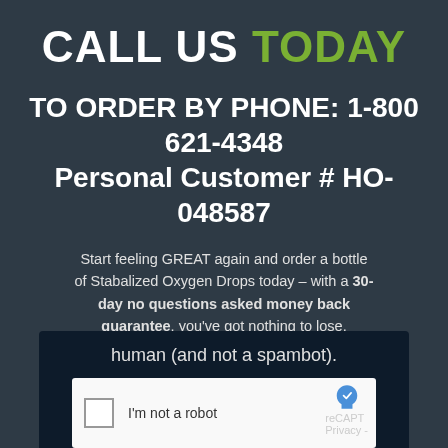CALL US TODAY
TO ORDER BY PHONE: 1-800 621-4348
Personal Customer # HO-048587
Start feeling GREAT again and order a bottle of Stabalized Oxygen Drops today – with a 30-day no questions asked money back guarantee, you've got nothing to lose.
human (and not a spambot).
[Figure (screenshot): reCAPTCHA widget showing checkbox 'I'm not a robot' with reCAPT branding partially visible]